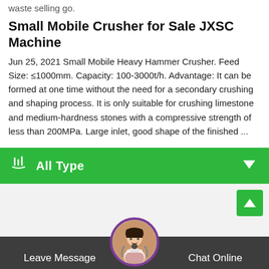waste selling go.
Small Mobile Crusher for Sale JXSC Machine
Jun 25, 2021 Small Mobile Heavy Hammer Crusher. Feed Size: ≤1000mm. Capacity: 100-3000t/h. Advantage: It can be formed at one time without the need for a secondary crushing and shaping process. It is only suitable for crushing limestone and medium-hardness stones with a compressive strength of less than 200MPa. Large inlet, good shape of the finished ...
[Figure (screenshot): Green dropdown bar labeled 'All Type' with a touch icon on left and a downward arrow on right]
[Figure (screenshot): Gray section with a green scroll-to-top button with an up arrow, and a dark chat bar at bottom with 'Leave Message' on left, 'Chat Online' on right, and a circular avatar of a female customer service agent in the center]